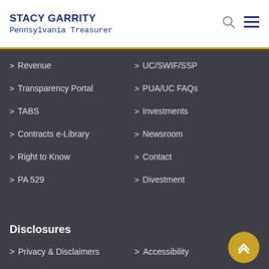STACY GARRITY Pennsylvania Treasurer
Revenue
UC/SWIF/SSP
Transparency Portal
PUA/UC FAQs
TABS
Investments
Contracts e-Library
Newsroom
Right to Know
Contact
PA 529
Divestment
Disclosures
Privacy & Disclaimers
Accessibility
Account Login Quick Links →
Holders
PA 529 GSP
PA ABLE
PA 529 IP
My INVEST
Keystone Scholars